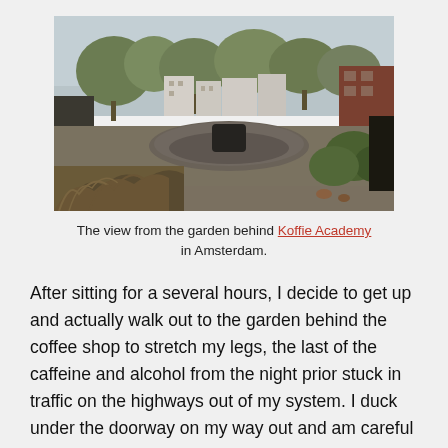[Figure (photo): Outdoor garden area behind a coffee shop in Amsterdam. Shows a raised circular platform or stage, surrounded by overgrown vegetation and dead brush in the foreground. Trees and urban buildings visible in the background under an overcast sky.]
The view from the garden behind Koffie Academy in Amsterdam.
After sitting for a several hours, I decide to get up and actually walk out to the garden behind the coffee shop to stretch my legs, the last of the caffeine and alcohol from the night prior stuck in traffic on the highways out of my system. I duck under the doorway on my way out and am careful